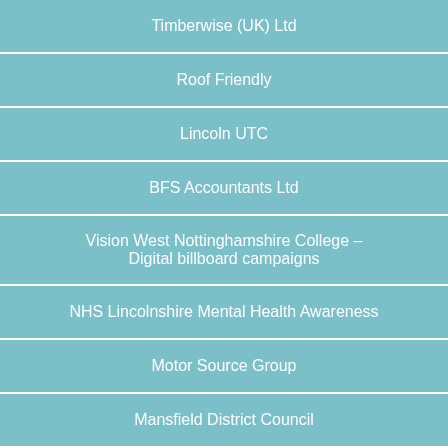Timberwise (UK) Ltd
Roof Friendly
Lincoln UTC
BFS Accountants Ltd
Vision West Nottinghamshire College – Digital billboard campaigns
NHS Lincolnshire Mental Health Awareness
Motor Source Group
Mansfield District Council
Elysium Healthcare
Premier Hearing in Loughborough